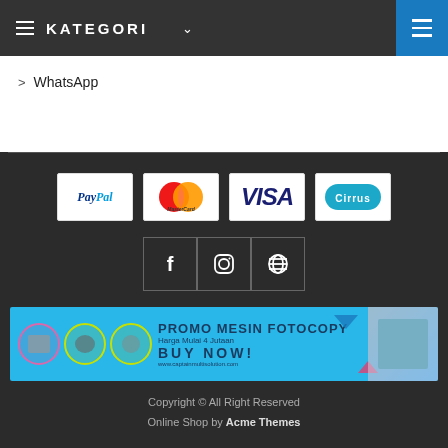KATEGORI
> WhatsApp
[Figure (infographic): Payment method logos: PayPal, MasterCard, VISA, Cirrus]
[Figure (infographic): Social media icon buttons: Facebook, Instagram, Globe]
[Figure (infographic): Advertisement banner: PROMO MESIN FOTOCOPY - Harga Mulai 4 Jutaan - BUY NOW! - www.captainmultisolution.com]
Copyright © All Right Reserved Online Shop by Acme Themes